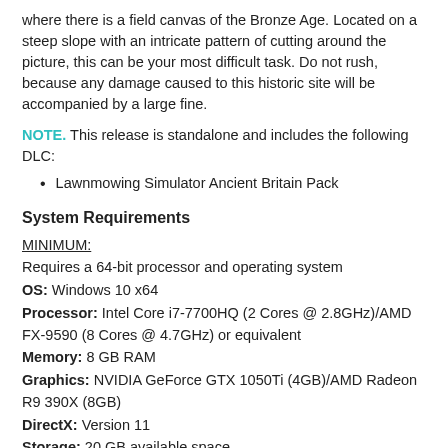where there is a field canvas of the Bronze Age. Located on a steep slope with an intricate pattern of cutting around the picture, this can be your most difficult task. Do not rush, because any damage caused to this historic site will be accompanied by a large fine.
NOTE. This release is standalone and includes the following DLC:
Lawnmowing Simulator Ancient Britain Pack
System Requirements
MINIMUM:
Requires a 64-bit processor and operating system
OS: Windows 10 x64
Processor: Intel Core i7-7700HQ (2 Cores @ 2.8GHz)/AMD FX-9590 (8 Cores @ 4.7GHz) or equivalent
Memory: 8 GB RAM
Graphics: NVIDIA GeForce GTX 1050Ti (4GB)/AMD Radeon R9 390X (8GB)
DirectX: Version 11
Storage: 20 GB available space
Additional Notes: 30 FPS+ @ Low 1080p